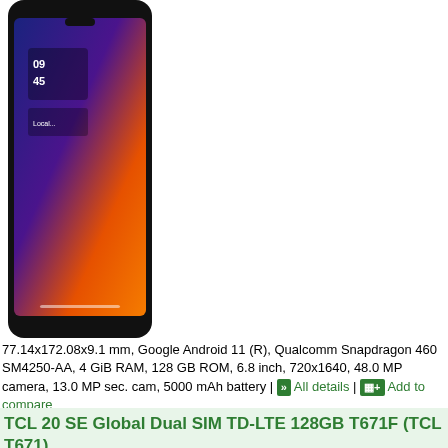[Figure (photo): TCL smartphone displayed upright showing lock screen with time 09:45, gradient blue-orange background, top portion of phone visible]
77.14x172.08x9.1 mm, Google Android 11 (R), Qualcomm Snapdragon 460 SM4250-AA, 4 GiB RAM, 128 GB ROM, 6.8 inch, 720x1640, 48.0 MP camera, 13.0 MP sec. cam, 5000 mAh battery | All details | Add to compare
TCL 20 SE Global Dual SIM TD-LTE 128GB T671F (TCL T671)
[Figure (photo): TCL 20 SE smartphone displayed upright showing lock screen with time 09:45, gradient blue-orange background, partial view]